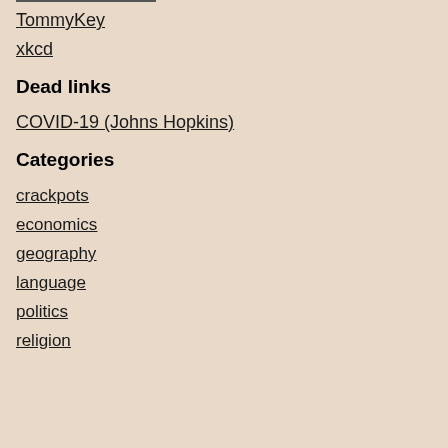TommyKey
xkcd
Dead links
COVID-19 (Johns Hopkins)
Categories
crackpots
economics
geography
language
politics
religion